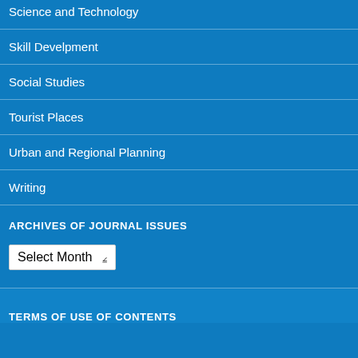Science and Technology
Skill Develpment
Social Studies
Tourist Places
Urban and Regional Planning
Writing
ARCHIVES OF JOURNAL ISSUES
Select Month
TERMS OF USE OF CONTENTS